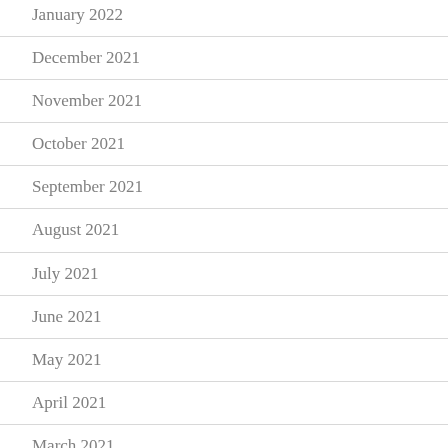January 2022
December 2021
November 2021
October 2021
September 2021
August 2021
July 2021
June 2021
May 2021
April 2021
March 2021
February 2021